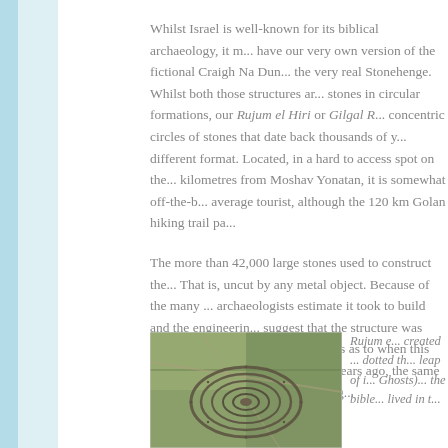Whilst Israel is well-known for its biblical archaeology, it may have our very own version of the fictional Craigh Na Dun or the very real Stonehenge. Whilst both those structures are stones in circular formations, our Rujum el Hiri or Gilgal R... concentric circles of stones that date back thousands of y... different format. Located, in a hard to access spot on the ... kilometres from Moshav Yonatan, it is somewhat off-the-b... average tourist, although the 120 km Golan hiking trail pa...
The more than 42,000 large stones used to construct the... That is, uncut by any metal object. Because of the many ... archaeologists estimate it took to build and the engineerin... suggest that the structure was created by people at a tim... theories as to when this happened. The most recent rese... years ago, the same time as the Egyptians were building...
[Figure (photo): Aerial photograph of Rujum el Hiri, showing concentric circles of stones visible from above, surrounded by green fields.]
Rujum e... created ... dotted th... leap of i... Ghosts)... the bible... lived in t...